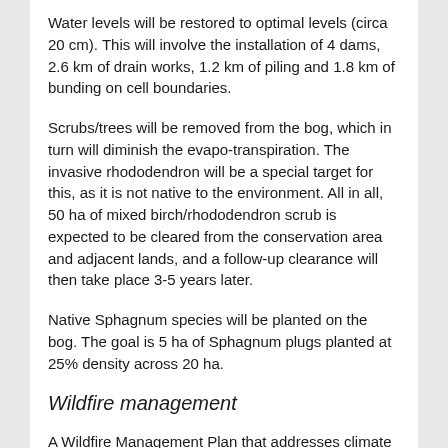Water levels will be restored to optimal levels (circa 20 cm). This will involve the installation of 4 dams, 2.6 km of drain works, 1.2 km of piling and 1.8 km of bunding on cell boundaries.
Scrubs/trees will be removed from the bog, which in turn will diminish the evapo-transpiration. The invasive rhododendron will be a special target for this, as it is not native to the environment. All in all, 50 ha of mixed birch/rhododendron scrub is expected to be cleared from the conservation area and adjacent lands, and a follow-up clearance will then take place 3-5 years later.
Native Sphagnum species will be planted on the bog. The goal is 5 ha of Sphagnum plugs planted at 25% density across 20 ha.
Wildfire management
A Wildfire Management Plan that addresses climate resilience will be developed and 3 km of fire breaks will be put in place.